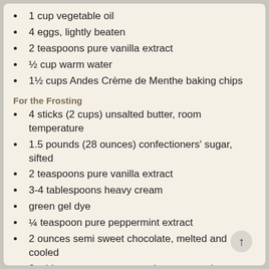1 cup vegetable oil
4 eggs, lightly beaten
2 teaspoons pure vanilla extract
½ cup warm water
1½ cups Andes Crème de Menthe baking chips
For the Frosting
4 sticks (2 cups) unsalted butter, room temperature
1.5 pounds (28 ounces) confectioners' sugar, sifted
2 teaspoons pure vanilla extract
3-4 tablespoons heavy cream
green gel dye
¼ teaspoon pure peppermint extract
2 ounces semi sweet chocolate, melted and cooled
2 tablespoons unsweetened cocoa powder
mini chocolate chips